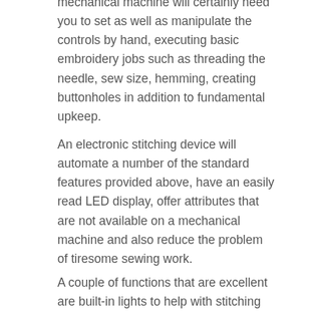mechanical machine will certainly need you to set as well as manipulate the controls by hand, executing basic embroidery jobs such as threading the needle, sew size, hemming, creating buttonholes in addition to fundamental upkeep.
An electronic stitching device will automate a number of the standard features provided above, have an easily read LED display, offer attributes that are not available on a mechanical machine and also reduce the problem of tiresome sewing work.
A couple of functions that are excellent are built-in lights to help with stitching darker items and also for sewing during